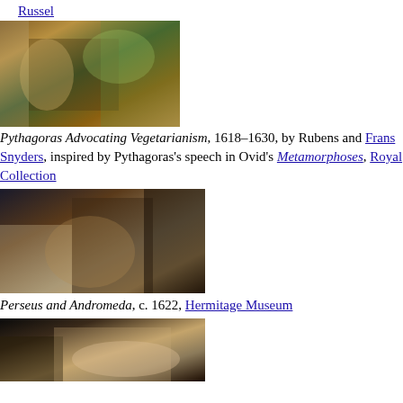Russel
[Figure (photo): Pythagoras Advocating Vegetarianism, 1618–1630, painting by Rubens and Frans Snyders, baroque figures and cherubs with fruits and flowers]
Pythagoras Advocating Vegetarianism, 1618–1630, by Rubens and Frans Snyders, inspired by Pythagoras's speech in Ovid's Metamorphoses, Royal Collection
[Figure (photo): Perseus and Andromeda, c. 1622, painting by Rubens, showing Perseus on Pegasus with Andromeda]
Perseus and Andromeda, c. 1622, Hermitage Museum
[Figure (photo): Another painting by Rubens, partially visible, showing reclining figure]